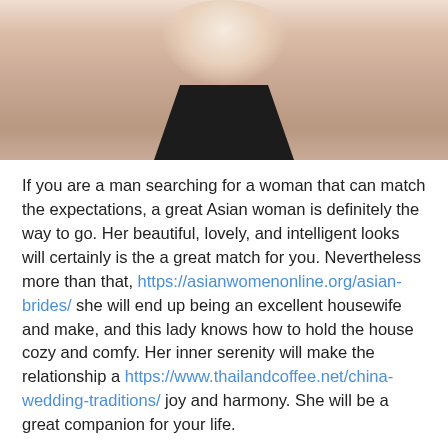[Figure (photo): Cropped photo of a person wearing a black tank top, visible from shoulders/neck up, partially cut off at top]
If you are a man searching for a woman that can match the expectations, a great Asian woman is definitely the way to go. Her beautiful, lovely, and intelligent looks will certainly is the a great match for you. Nevertheless more than that, https://asianwomenonline.org/asian-brides/ she will end up being an excellent housewife and make, and this lady knows how to hold the house cozy and comfy. Her inner serenity will make the relationship a https://www.thailandcoffee.net/china-wedding-traditions/ joy and harmony. She will be a great companion for your life.
[Figure (illustration): Gray circular avatar/profile icon showing a generic person silhouette]
Angels in Heaven
Seeks to create a total learning environment with high